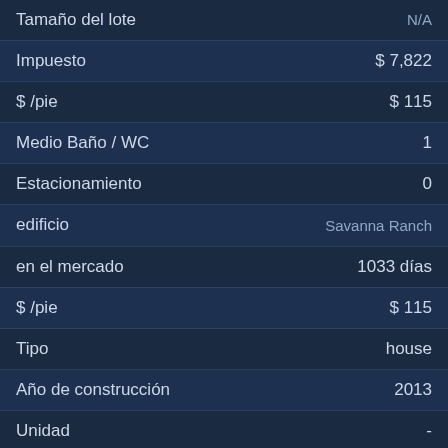| Campo | Valor |
| --- | --- |
| Tamaño del lote | N/A |
| Impuesto | $ 7,822 |
| $ /pie | $ 115 |
| Medio Baño / WC | 1 |
| Estacionamiento | 0 |
| edificio | Savanna Ranch |
| en el mercado | 1033 días |
| $ /pie | $ 115 |
| Tipo | house |
| Año de construcción | 2013 |
| Unidad | - |
| Código postal | 78641 |
| Ref./MLS ID | 6385513 |